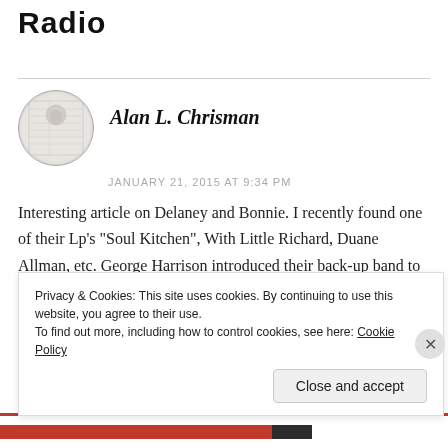Radio
Alan L. Chrisman
JANUARY 21, 2015 AT 9:34 PM
Interesting article on Delaney and Bonnie. I recently found one of their Lp’s “Soul Kitchen”, With Little Richard, Duane Allman, etc. George Harrison introduced their back-up band to Eric
Privacy & Cookies: This site uses cookies. By continuing to use this website, you agree to their use.
To find out more, including how to control cookies, see here: Cookie Policy
Close and accept